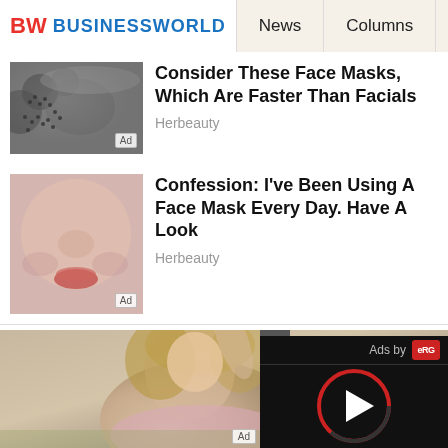BW BUSINESSWORLD | News | Columns | Interviews | BW
[Figure (photo): Thumbnail of dark seeds/granules in a spoon, gray textured background]
Consider These Face Masks, Which Are Faster Than Facials
Herbeauty
[Figure (photo): Close-up of a woman's face showing nose and lips with red lipstick]
Confession: I've Been Using A Face Mask Every Day. Have A Look
Herbeauty
[Figure (photo): Photo of a blonde woman in a pink sparkly dress posing with hand behind head, with an ad video overlay in bottom right showing a play button and 'Ads by eRG' label]